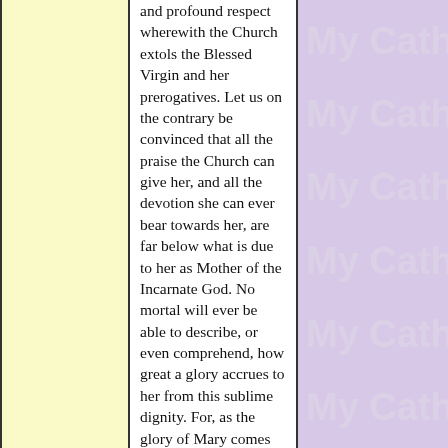and profound respect wherewith the Church extols the Blessed Virgin and her prerogatives. Let us on the contrary be convinced that all the praise the Church can give her, and all the devotion she can ever bear towards her, are far below what is due to her as Mother of the Incarnate God. No mortal will ever be able to describe, or even comprehend, how great a glory accrues to her from this sublime dignity. For, as the glory of Mary comes from her being the Mother of God, one would have first to
[Figure (other): Repeated watermark text 'My Catho' on lavender/purple background, appearing 6 times vertically]